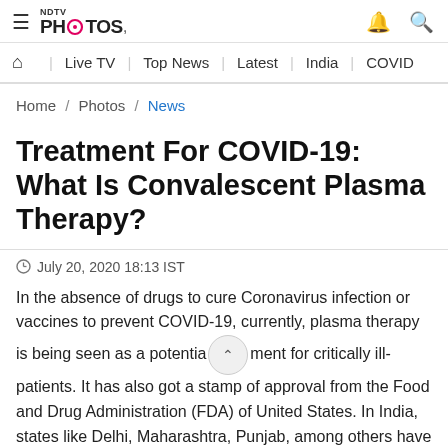≡ NDTV PHOTOS 🔔 🔍
🏠 | Live TV | Top News | Latest | India | COVID
Home / Photos / News
Treatment For COVID-19: What Is Convalescent Plasma Therapy?
July 20, 2020 18:13 IST
In the absence of drugs to cure Coronavirus infection or vaccines to prevent COVID-19, currently, plasma therapy is being seen as a potential treatment for critically ill-patients. It has also got a stamp of approval from the Food and Drug Administration (FDA) of United States. In India, states like Delhi, Maharashtra, Punjab, among others have